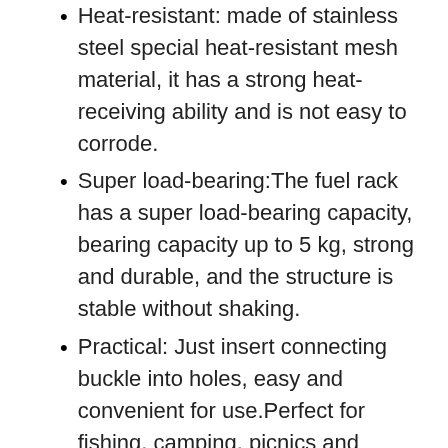Heat-resistant: made of stainless steel special heat-resistant mesh material, it has a strong heat-receiving ability and is not easy to corrode.
Super load-bearing:The fuel rack has a super load-bearing capacity, bearing capacity up to 5 kg, strong and durable, and the structure is stable without shaking.
Practical: Just insert connecting buckle into holes, easy and convenient for use.Perfect for fishing, camping, picnics and hiking holidays etc. Outdoor camping is a must, which can meet your needs in different scenes and can be matched at will.
SPECIFICATION
| Model | NH20SK001 |
| --- | --- |
| Size | 41.5*41.5*26.5cm |